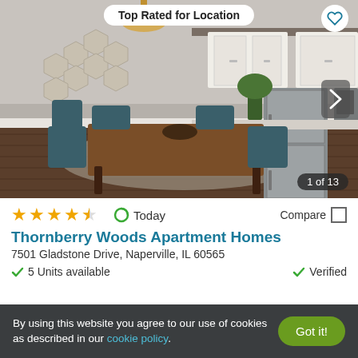[Figure (photo): Interior photo of an apartment showing a dining area with a wooden table and teal chairs, and a kitchen with stainless steel appliances and white cabinets in the background. Badge at top reads 'Top Rated for Location'. Image counter shows '1 of 13'.]
★★★★☆  Today  Compare
Thornberry Woods Apartment Homes
7501 Gladstone Drive, Naperville, IL 60565
✓ 5 Units available    ✓ Verified
By using this website you agree to our use of cookies as described in our cookie policy.